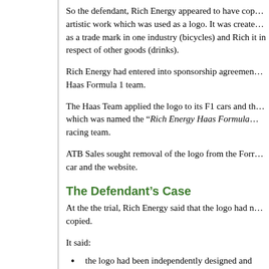So the defendant, Rich Energy appeared to have copied an artistic work which was used as a logo. It was created as a trade mark in one industry (bicycles) and Rich it in respect of other goods (drinks).
Rich Energy had entered into sponsorship agreements with the Haas Formula 1 team.
The Haas Team applied the logo to its F1 cars and the team which was named the “Rich Energy Haas Formula 1” racing team.
ATB Sales sought removal of the logo from the Formula 1 car and the website.
The Defendant’s Case
At the the trial, Rich Energy said that the logo had not been copied.
It said:
the logo had been independently designed and